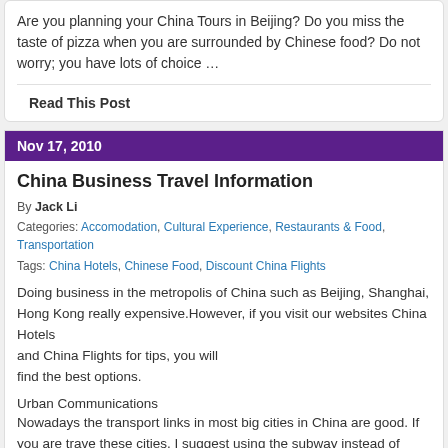Are you planning your China Tours in Beijing? Do you miss the taste of pizza when you are surrounded by Chinese food? Do not worry; you have lots of choice …
Read This Post
Nov 17, 2010
China Business Travel Information
By Jack Li
Categories: Accomodation, Cultural Experience, Restaurants & Food, Transportation
Tags: China Hotels, Chinese Food, Discount China Flights
Doing business in the metropolis of China such as Beijing, Shanghai, Hong Kong really expensive.However, if you visit our websites China Hotels and China Flights for tips, you will find the best options.
Urban Communications
Nowadays the transport links in most big cities in China are good. If you are traveling these cities, I suggest using the subway instead of taking a taxi, since the traffic j your trip very expensive. All signs and buttons in the subway are bilingual, so you worry about the language barrier.
Fast Food or Cheap Snacks
Mcdonalds, KFC, Yoshinoya, Kung fu restaurant, Big Pizza, and Yonghe Soybea fast food restaurants in Beijing, Shanghai, in the major cities in China. If …